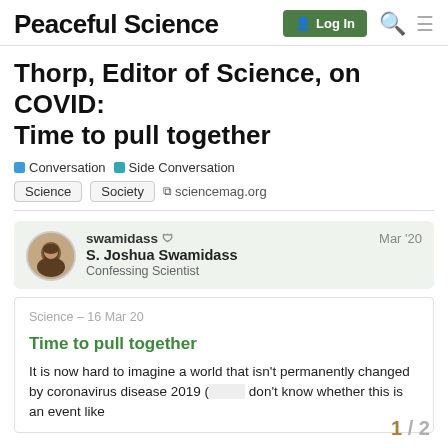Peaceful Science | Log In
Thorp, Editor of Science, on COVID: Time to pull together
Conversation  Side Conversation
Science  Society  sciencemag.org
swamidass  S. Joshua Swamidass  Confessing Scientist  Mar '20
Science – 16 Mar 20
Time to pull together
It is now hard to imagine a world that isn't permanently changed by coronavirus disease 2019 (  don't know whether this is an event like
1 / 2